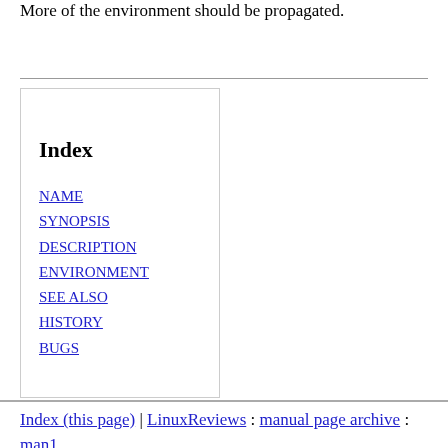More of the environment should be propagated.
NAME
SYNOPSIS
DESCRIPTION
ENVIRONMENT
SEE ALSO
HISTORY
BUGS
Index (this page) | LinuxReviews : manual page archive : man1